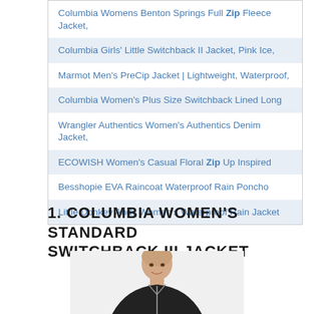Columbia Womens Benton Springs Full Zip Fleece Jacket,
Columbia Girls' Little Switchback II Jacket, Pink Ice,
Marmot Men's PreCip Jacket | Lightweight, Waterproof,
Columbia Women's Plus Size Switchback Lined Long
Wrangler Authentics Women's Authentics Denim Jacket,
ECOWISH Women's Casual Floral Zip Up Inspired
Besshopie EVA Raincoat Waterproof Rain Poncho
Little Donkey Andy Women's Waterproof Rain Jacket
1. COLUMBIA WOMEN'S STANDARD SWITCHBACK III JACKET
[Figure (photo): Woman wearing a black Columbia jacket, shown from shoulders up, smiling, with short hair]